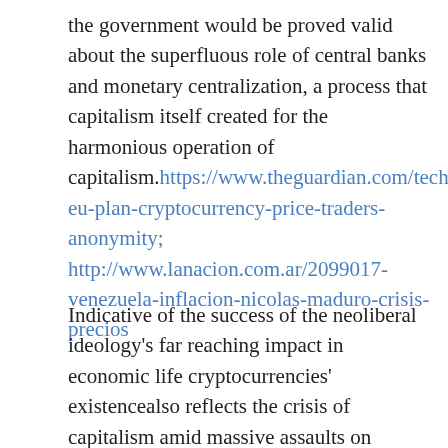the government would be proved valid about the superfluous role of central banks and monetary centralization, a process that capitalism itself created for the harmonious operation of capitalism.https://www.theguardian.com/technology/uk-eu-plan-cryptocurrency-price-traders-anonymity; http://www.lanacion.com.ar/2099017-venezuela-inflacion-nicolas-maduro-crisis-precios
Indicative of the success of the neoliberal ideology's far reaching impact in economic life cryptocurrencies' existencealso reflects the crisis of capitalism amid massive assaults on middle class and working class living standards in the quest for greater capital concentration. In